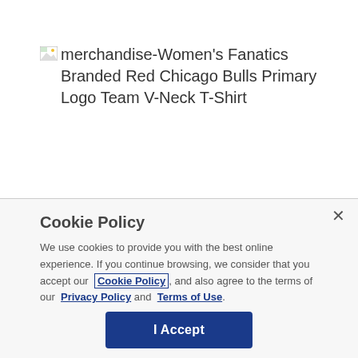[Figure (other): Broken image placeholder with alt text: merchandise-Women's Fanatics Branded Red Chicago Bulls Primary Logo Team V-Neck T-Shirt]
Cookie Policy
We use cookies to provide you with the best online experience. If you continue browsing, we consider that you accept our Cookie Policy, and also agree to the terms of our Privacy Policy and Terms of Use.
I Accept